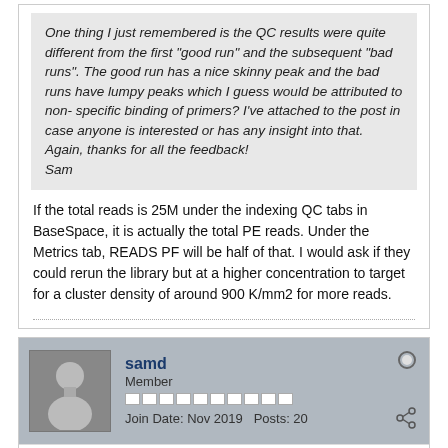One thing I just remembered is the QC results were quite different from the first "good run" and the subsequent "bad runs". The good run has a nice skinny peak and the bad runs have lumpy peaks which I guess would be attributed to non-specific binding of primers? I've attached to the post in case anyone is interested or has any insight into that.
Again, thanks for all the feedback!
Sam
If the total reads is 25M under the indexing QC tabs in BaseSpace, it is actually the total PE reads. Under the Metrics tab, READS PF will be half of that. I would ask if they could rerun the library but at a higher concentration to target for a cluster density of around 900 K/mm2 for more reads.
samd
Member
Join Date: Nov 2019   Posts: 20
11-06-2019, 06:45 PM
#19
Hi itstrieu,